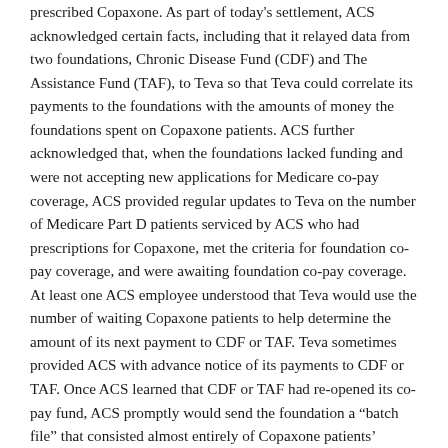prescribed Copaxone. As part of today's settlement, ACS acknowledged certain facts, including that it relayed data from two foundations, Chronic Disease Fund (CDF) and The Assistance Fund (TAF), to Teva so that Teva could correlate its payments to the foundations with the amounts of money the foundations spent on Copaxone patients. ACS further acknowledged that, when the foundations lacked funding and were not accepting new applications for Medicare co-pay coverage, ACS provided regular updates to Teva on the number of Medicare Part D patients serviced by ACS who had prescriptions for Copaxone, met the criteria for foundation co-pay coverage, and were awaiting foundation co-pay coverage. At least one ACS employee understood that Teva would use the number of waiting Copaxone patients to help determine the amount of its next payment to CDF or TAF. Teva sometimes provided ACS with advance notice of its payments to CDF or TAF. Once ACS learned that CDF or TAF had re-opened its co-pay fund, ACS promptly would send the foundation a “batch file” that consisted almost entirely of Copaxone patients’ applications for Medicare co-pay coverage. Thereafter, ACS often received notice from the foundation that most or all of the applications submitted by ACS had been approved to receive co-pay funding. When a Copaxone patient’s application was approved, ACS no longer included that patient in its reports to Teva on the number of Copaxone patients awaiting foundation co-pay coverage.